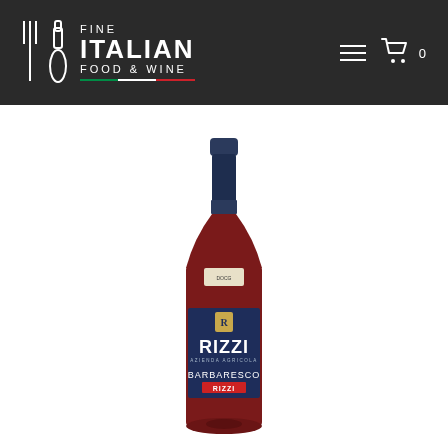[Figure (logo): Fine Italian Food & Wine logo with fork and wine glass icons on dark background, with Italian flag bar underneath the text]
[Figure (photo): Rizzi Barbaresco red wine bottle with dark navy label reading RIZZI BARBARESCO on white background]